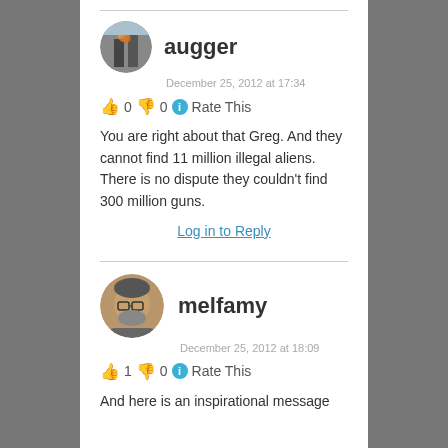[Figure (photo): Avatar of user augger - circular photo showing burning building (9/11 imagery)]
augger
December 25, 2012 at 17:34
👍 0 👎 0 ℹ Rate This
You are right about that Greg. And they cannot find 11 million illegal aliens. There is no dispute they couldn't find 300 million guns.
Log in to Reply
[Figure (photo): Avatar of user melfamy - circular photo of a man with glasses]
melfamy
December 25, 2012 at 18:09
👍 1 👎 0 ℹ Rate This
And here is an inspirational message